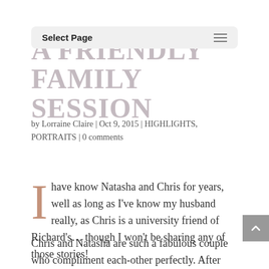Select Page
A FRIENDLY FAMILY SESSION
by Lorraine Claire | Oct 9, 2015 | HIGHLIGHTS, PORTRAITS | 0 comments
I have know Natasha and Chris for years, well as long as I've know my husband really, as Chris is a university friend of Richard's... though I won't be sharing any of those stories!
Chris and Natasha are such a fabulous couple who compliment each-other perfectly. After being together for many years Chris proposed